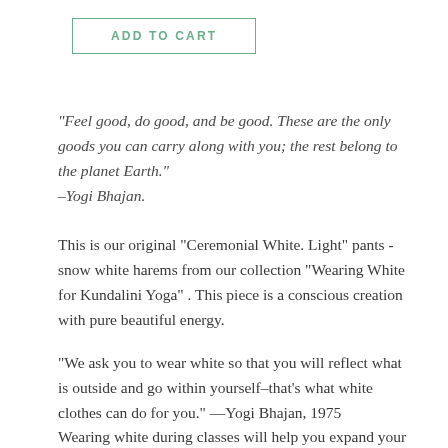ADD TO CART
"Feel good, do good, and be good. These are the only goods you can carry along with you; the rest belong to the planet Earth." –Yogi Bhajan.
This is our original "Ceremonial White. Light" pants - snow white harems from our collection "Wearing White for Kundalini Yoga" . This piece is a conscious creation with pure beautiful energy.
“We ask you to wear white so that you will reflect what is outside and go within yourself–that’s what white clothes can do for you.” —Yogi Bhajan, 1975
Wearing white during classes will help you expand your auric